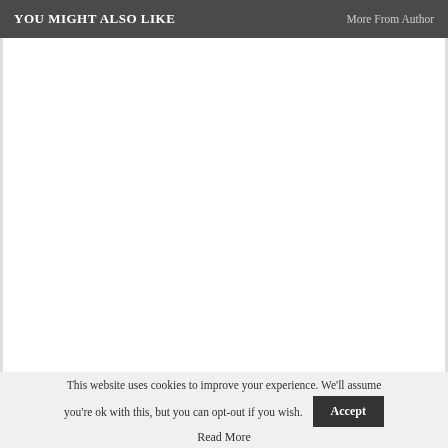YOU MIGHT ALSO LIKE | More From Author
[Figure (other): Empty white content area placeholder below the 'You Might Also Like' header bar]
This website uses cookies to improve your experience. We'll assume you're ok with this, but you can opt-out if you wish. Accept
Read More